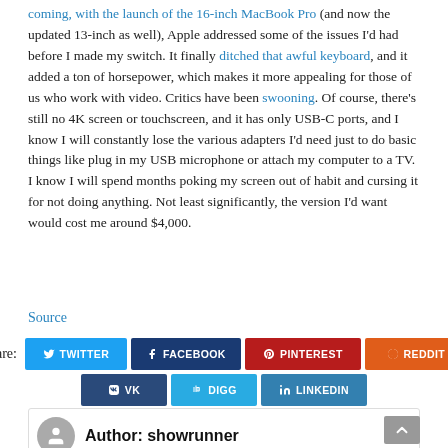coming, with the launch of the 16-inch MacBook Pro (and now the updated 13-inch as well), Apple addressed some of the issues I'd had before I made my switch. It finally ditched that awful keyboard, and it added a ton of horsepower, which makes it more appealing for those of us who work with video. Critics have been swooning. Of course, there's still no 4K screen or touchscreen, and it has only USB-C ports, and I know I will constantly lose the various adapters I'd need just to do basic things like plug in my USB microphone or attach my computer to a TV. I know I will spend months poking my screen out of habit and cursing it for not doing anything. Not least significantly, the version I'd want would cost me around $4,000.
Source
Share: TWITTER FACEBOOK PINTEREST REDDIT VK DIGG LINKEDIN
Author: showrunner